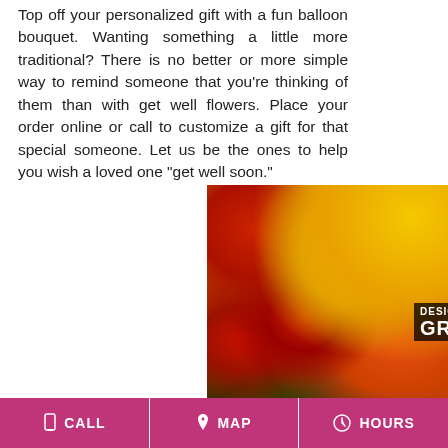Top off your personalized gift with a fun balloon bouquet. Wanting something a little more traditional? There is no better or more simple way to remind someone that you're thinking of them than with get well flowers. Place your order online or call to customize a gift for that special someone. Let us be the ones to help you wish a loved one "get well soon."
[Figure (photo): Photo of colorful graduation flower bouquet with yellow gerbera daisies, red carnations and roses, and orange roses, overlaid with text 'DESIGNER'S CHOICE GRADUATION']
CALL   MAP   HOURS